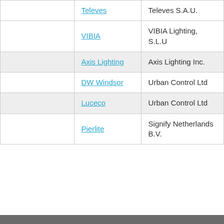|  | Brand | Company |
| --- | --- | --- |
|  | Televes | Televes S.A.U. |
|  | VIBIA | VIBIA Lighting, S.L.U |
|  | Axis Lighting | Axis Lighting Inc. |
|  | DW Windsor | Urban Control Ltd |
|  | Luceco | Urban Control Ltd |
|  | Pierlite | Signify Netherlands B.V. |